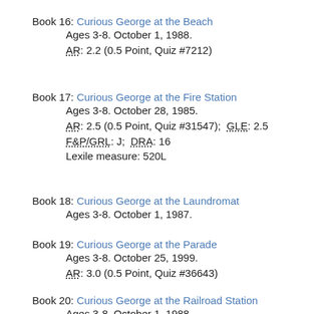Book 16: Curious George at the Beach
Ages 3-8. October 1, 1988.
AR: 2.2 (0.5 Point, Quiz #7212)
Book 17: Curious George at the Fire Station
Ages 3-8. October 28, 1985.
AR: 2.5 (0.5 Point, Quiz #31547); GLE: 2.5
F&P/GRL: J; DRA: 16
Lexile measure: 520L
Book 18: Curious George at the Laundromat
Ages 3-8. October 1, 1987.
Book 19: Curious George at the Parade
Ages 3-8. October 25, 1999.
AR: 3.0 (0.5 Point, Quiz #36643)
Book 20: Curious George at the Railroad Station
Ages 3-8. October 1, 1988.